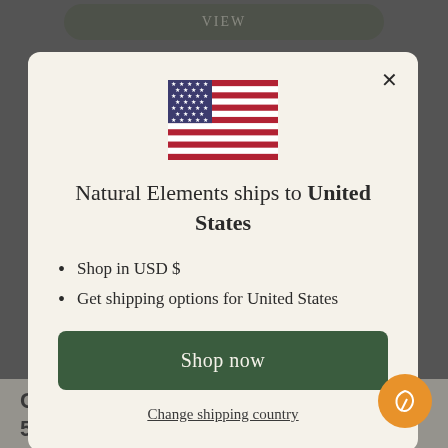[Figure (screenshot): Dark olive rounded button with text VIEW at top of background page]
[Figure (illustration): United States flag emoji/image centered in modal dialog]
Natural Elements ships to United States
Shop in USD $
Get shipping options for United States
Shop now
Change shipping country
CALMING MOISTURISER 50ML | PRONE TO